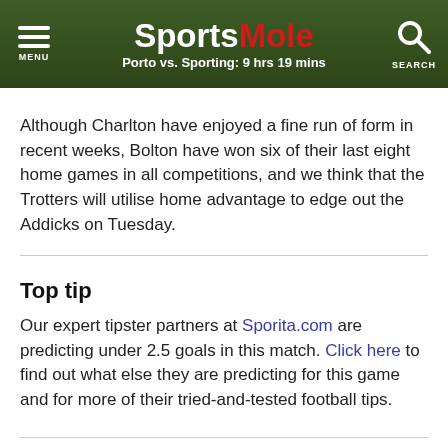SportsMole — Porto vs. Sporting: 9 hrs 19 mins
Although Charlton have enjoyed a fine run of form in recent weeks, Bolton have won six of their last eight home games in all competitions, and we think that the Trotters will utilise home advantage to edge out the Addicks on Tuesday.
Top tip
Our expert tipster partners at Sporita.com are predicting under 2.5 goals in this match. Click here to find out what else they are predicting for this game and for more of their tried-and-tested football tips.
Previews by email